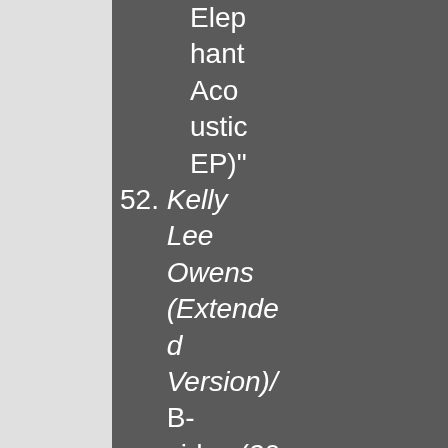Elep hant Aco ustic EP)"
52. Kelly Lee Owens (Extended Version)/ B-sides (2017) – Kelly Lee